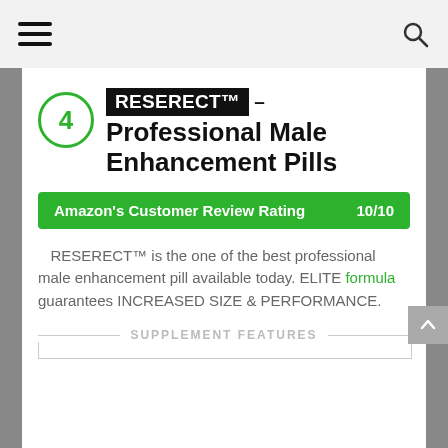4 RESERECT™ – Professional Male Enhancement Pills
Amazon's Customer Review Rating 10/10
RESERECT™ is the one of the best professional male enhancement pill available today. ELITE formula guarantees INCREASED SIZE & PERFORMANCE.
SUPPLEMENT FEATURES